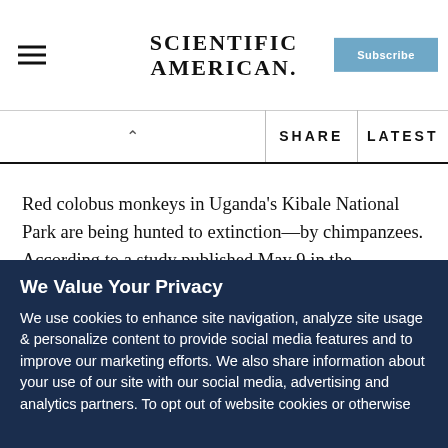SCIENTIFIC AMERICAN — Subscribe
SHARE   LATEST
Red colobus monkeys in Uganda's Kibale National Park are being hunted to extinction—by chimpanzees. According to a study published May 9 in the American Journal of Primatology, this is the first documented case of a nonhuman primate significantly overhunting another primate species.
We Value Your Privacy
We use cookies to enhance site navigation, analyze site usage & personalize content to provide social media features and to improve our marketing efforts. We also share information about your use of our site with our social media, advertising and analytics partners. To opt out of website cookies or otherwise